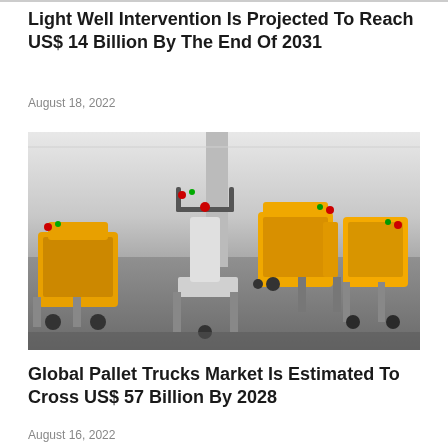Light Well Intervention Is Projected To Reach US$ 14 Billion By The End Of 2031
August 18, 2022
[Figure (photo): Yellow electric pallet trucks lined up in a warehouse with grey concrete floor and white walls]
Global Pallet Trucks Market Is Estimated To Cross US$ 57 Billion By 2028
August 16, 2022